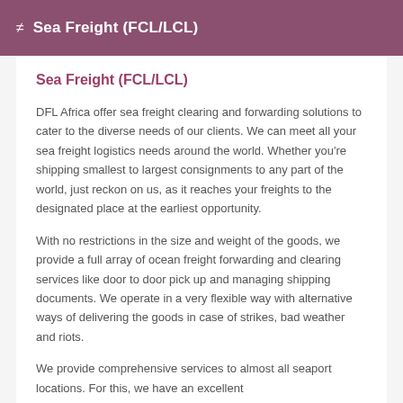Sea Freight (FCL/LCL)
Sea Freight (FCL/LCL)
DFL Africa offer sea freight clearing and forwarding solutions to cater to the diverse needs of our clients. We can meet all your sea freight logistics needs around the world. Whether you're shipping smallest to largest consignments to any part of the world, just reckon on us, as it reaches your freights to the designated place at the earliest opportunity.
With no restrictions in the size and weight of the goods, we provide a full array of ocean freight forwarding and clearing services like door to door pick up and managing shipping documents. We operate in a very flexible way with alternative ways of delivering the goods in case of strikes, bad weather and riots.
We provide comprehensive services to almost all seaport locations. For this, we have an excellent